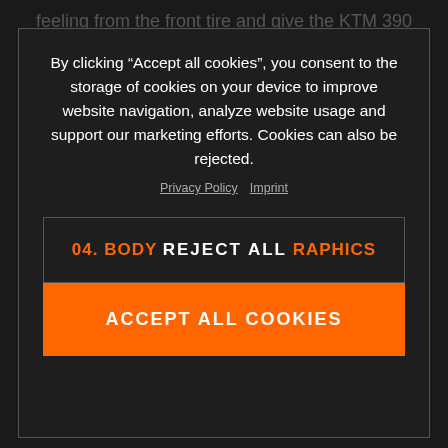feeling from the front tire and give the KTM 390 DUKE R a racier riding position. Riders can also tailor their preferred reach with three rotational
By clicking “Accept all cookies”, you consent to the storage of cookies on your device to improve website navigation, analyze website usage and support our marketing efforts. Cookies can also be rejected.
Privacy Policy  Imprint
04. BODY WORK & GRAPHICS  REJECT ALL
ACCEPT ALL COOKIES